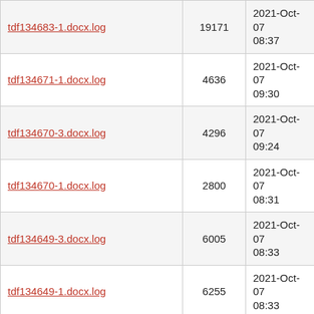| tdf134683-1.docx.log | 19171 | 2021-Oct-07 08:37 |
| tdf134671-1.docx.log | 4636 | 2021-Oct-07 09:30 |
| tdf134670-3.docx.log | 4296 | 2021-Oct-07 09:24 |
| tdf134670-1.docx.log | 2800 | 2021-Oct-07 08:31 |
| tdf134649-3.docx.log | 6005 | 2021-Oct-07 08:33 |
| tdf134649-1.docx.log | 6255 | 2021-Oct-07 08:33 |
| tdf134648-1.docx.log | 2951 | 2021-Oct-07 09:23 |
| tdf134635-1.docx.log | 6033 | 2021-Oct-07 08:35 |
| tdf134621-1.docx.log | 3654 | 2021-Oct-07 08:43 |
| tdf134606-1.docx.log | 31268 | 2021-Oct-07 09:16 |
| tdf134592-3.docx.log | 2822 | 2021-Oct-07 09:17 |